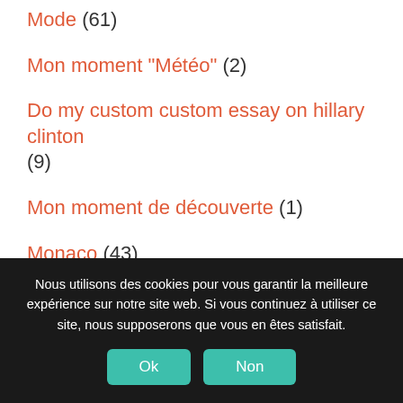Mode (61)
Mon moment "Météo" (2)
Do my custom custom essay on hillary clinton (9)
Mon moment de découverte (1)
Monaco (43)
Monsieur (2)
Mo... (55)
Nous utilisons des cookies pour vous garantir la meilleure expérience sur notre site web. Si vous continuez à utiliser ce site, nous supposerons que vous en êtes satisfait.
Ok | Non